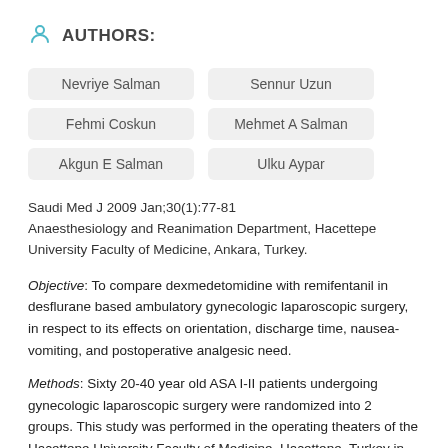AUTHORS:
Nevriye Salman
Sennur Uzun
Fehmi Coskun
Mehmet A Salman
Akgun E Salman
Ulku Aypar
Saudi Med J 2009 Jan;30(1):77-81
Anaesthesiology and Reanimation Department, Hacettepe University Faculty of Medicine, Ankara, Turkey.
Objective: To compare dexmedetomidine with remifentanil in desflurane based ambulatory gynecologic laparoscopic surgery, in respect to its effects on orientation, discharge time, nausea-vomiting, and postoperative analgesic need.
Methods: Sixty 20-40 year old ASA I-II patients undergoing gynecologic laparoscopic surgery were randomized into 2 groups. This study was performed in the operating theaters of the Hacettepe University Faculty of Medicine, Hacettepe, Turkey in 2004 as a prospective, randomized, and double